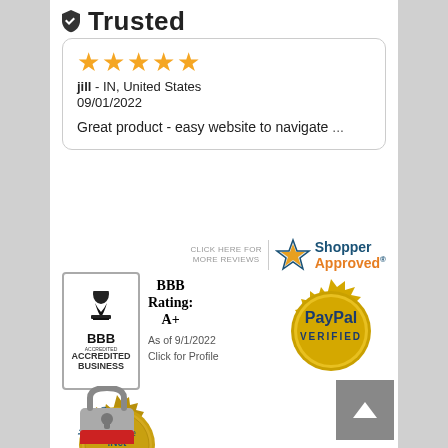Trusted
[Figure (infographic): Five orange star rating with reviewer info: jill - IN, United States, 09/01/2022. Review text: Great product - easy website to navigate ...]
[Figure (logo): Shopper Approved logo with star icon and text 'Shopper Approved'. Above it: CLICK HERE FOR MORE REVIEWS]
[Figure (logo): BBB Accredited Business logo with flame symbol, BBB text. Rating: A+, As of 9/1/2022, Click for Profile]
[Figure (logo): PayPal Verified gold seal badge]
[Figure (logo): Authorize.Net Verified Merchant seal]
[Figure (logo): Padlock security icon at bottom]